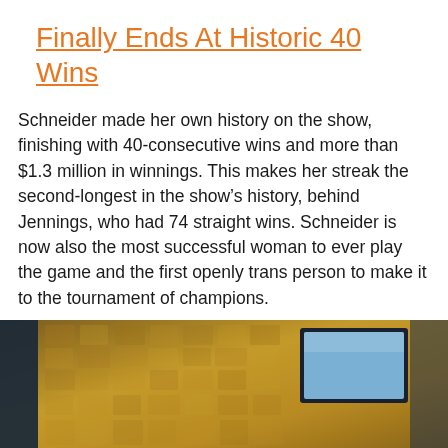Finally Ends At Historic 40 Wins
Schneider made her own history on the show, finishing with 40-consecutive wins and more than $1.3 million in winnings. This makes her streak the second-longest in the show's history, behind Jennings, who had 74 straight wins. Schneider is now also the most successful woman to ever play the game and the first openly trans person to make it to the tournament of champions.
[Figure (photo): Blurred background image showing a textured golden/amber wall with a dark-framed screen or monitor visible on the right side, likely from a game show set.]